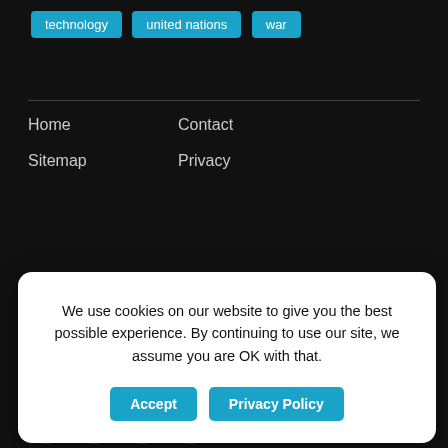technology
united nations
war
Home   Contact   Sitemap   Privacy
Salford, M50 1DL.
We use cookies on our website to give you the best possible experience. By continuing to use our site, we assume you are OK with that.
Accept   Privacy Policy